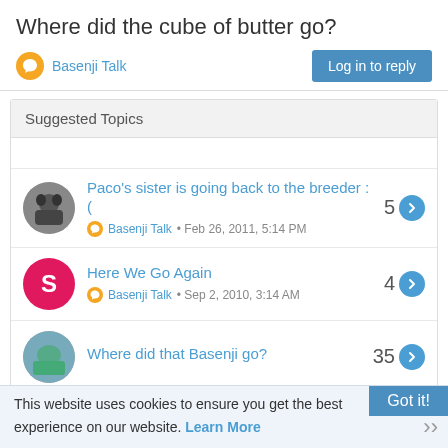Where did the cube of butter go?
Basenji Talk
Log in to reply
Suggested Topics
Paco's sister is going back to the breeder :(
Basenji Talk • Feb 26, 2011, 5:14 PM
5
Here We Go Again
Basenji Talk • Sep 2, 2010, 3:14 AM
4
Where did that Basenji go?
35
This website uses cookies to ensure you get the best experience on our website. Learn More